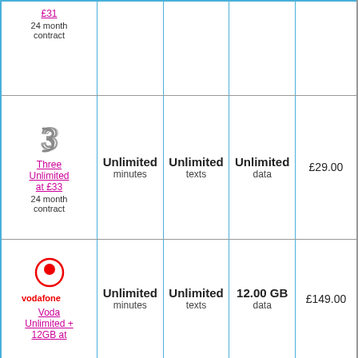| Plan | Minutes | Texts | Data | Price |
| --- | --- | --- | --- | --- |
| £31 24 month contract | Unlimited minutes | Unlimited texts | Unlimited data |  |
| Three Unlimited at £33 24 month contract | Unlimited minutes | Unlimited texts | Unlimited data | £29.00 |
| Voda Unlimited + 12GB at ... | Unlimited minutes | Unlimited texts | 12.00 GB data | £149.00 |